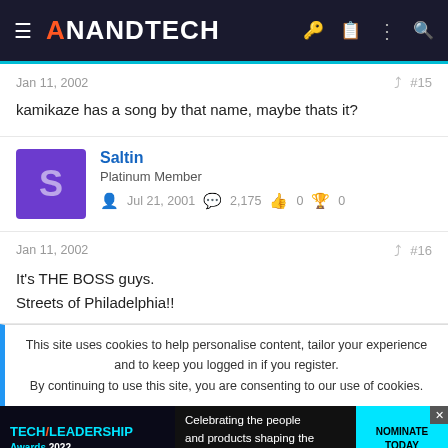AnandTech
Jan 11, 2002   #15
kamikaze has a song by that name, maybe thats it?
Saltin
Platinum Member
Jul 21, 2001   2,175   0   0
Jan 11, 2002   #16
It's THE BOSS guys.
Streets of Philadelphia!!
This site uses cookies to help personalise content, tailor your experience and to keep you logged in if you register.
By continuing to use this site, you are consenting to our use of cookies.
[Figure (screenshot): Tech Leadership Awards 2022 advertisement banner: Celebrating the people and products shaping the future of media technology. NOMINATE TODAY.]